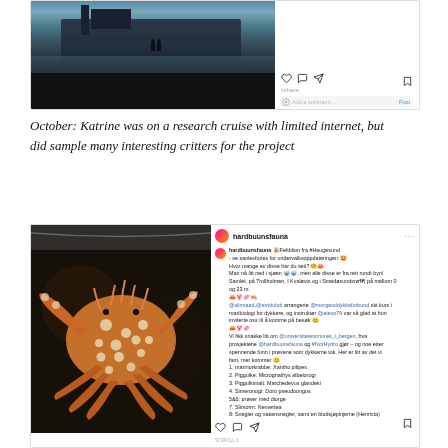[Figure (screenshot): Instagram screenshot showing a ship/research vessel docked at a harbor, with Instagram action icons (heart, comment, share, bookmark) and add comment field visible]
October: Katrine was on a research cruise with limited internet, but did sample many interesting critters for the project
[Figure (screenshot): Instagram post from hardbuunsfauna showing a colorful spiny crab (orange/red with white spots) against a dark background. Post text in Norwegian describes sampling critters near Haugesund including various species: marmorkrabbe Xantho pilipes, Piggulke Micrognathys albelorogi, Piggulkimålt Marchedevus glandeki, Simerologi Doro pseudoongus, and others. Post includes hashtags #marisabiodiversby #inwatebasanor #arisdatabanken #artsprosjektet]